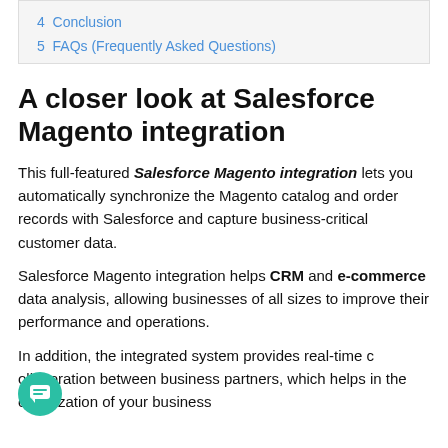4  Conclusion
5  FAQs (Frequently Asked Questions)
A closer look at Salesforce Magento integration
This full-featured Salesforce Magento integration lets you automatically synchronize the Magento catalog and order records with Salesforce and capture business-critical customer data.
Salesforce Magento integration helps CRM and e-commerce data analysis, allowing businesses of all sizes to improve their performance and operations.
In addition, the integrated system provides real-time collaboration between business partners, which helps in the optimization of your business